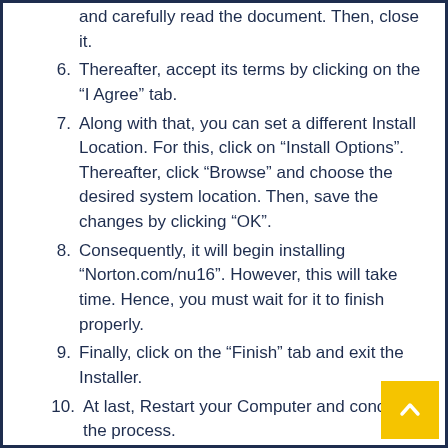and carefully read the document. Then, close it.
6. Thereafter, accept its terms by clicking on the “I Agree” tab.
7. Along with that, you can set a different Install Location. For this, click on “Install Options”. Thereafter, click “Browse” and choose the desired system location. Then, save the changes by clicking “OK”.
8. Consequently, it will begin installing “Norton.com/nu16”. However, this will take time. Hence, you must wait for it to finish properly.
9. Finally, click on the “Finish” tab and exit the Installer.
10. At last, Restart your Computer and conclude the process.